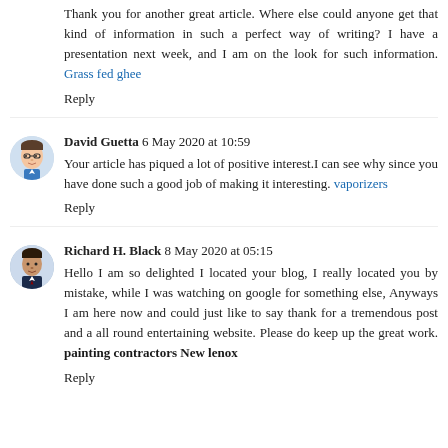Thank you for another great article. Where else could anyone get that kind of information in such a perfect way of writing? I have a presentation next week, and I am on the look for such information. Grass fed ghee
Reply
David Guetta 6 May 2020 at 10:59
Your article has piqued a lot of positive interest.I can see why since you have done such a good job of making it interesting. vaporizers
Reply
Richard H. Black 8 May 2020 at 05:15
Hello I am so delighted I located your blog, I really located you by mistake, while I was watching on google for something else, Anyways I am here now and could just like to say thank for a tremendous post and a all round entertaining website. Please do keep up the great work. painting contractors New lenox
Reply